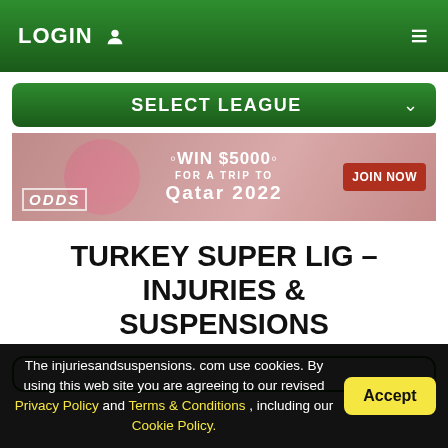LOGIN  ☰
SELECT LEAGUE
[Figure (infographic): Advertisement banner: ODDS logo, WIN $5000 FOR A TRIP TO Qatar 2022, JOIN NOW button, pink/red background with soccer imagery]
TURKEY SUPER LIG – INJURIES & SUSPENSIONS
The injuriesandsuspensions. com use cookies. By using this web site you are agreeing to our revised Privacy Policy and Terms & Conditions , including our Cookie Policy.